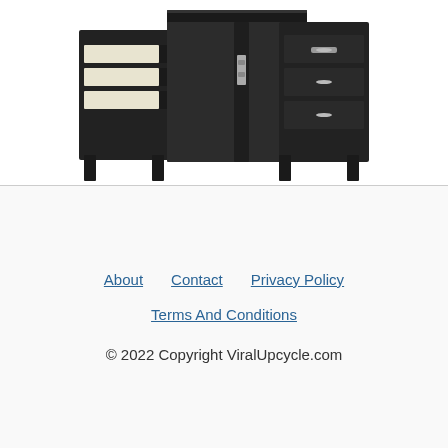[Figure (photo): A black wooden desk/vanity with multiple drawers and storage compartments, partially open showing pull-out trays with light-colored lining, photographed on a white background.]
About   Contact   Privacy Policy
Terms And Conditions
© 2022 Copyright ViralUpcycle.com